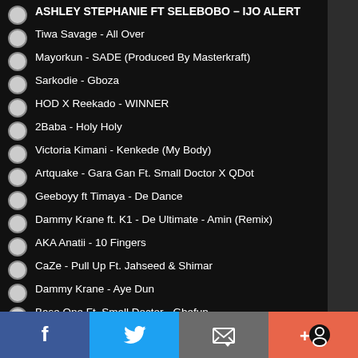ASHLEY STEPHANIE FT SELEBOBO – IJO ALERT
Tiwa Savage - All Over
Mayorkun - SADE (Produced By Masterkraft)
Sarkodie - Gboza
HOD X Reekado - WINNER
2Baba - Holy Holy
Victoria Kimani - Kenkede (My Body)
Artquake - Gara Gan Ft. Small Doctor X QDot
Geeboyy ft Timaya - De Dance
Dammy Krane ft. K1 - De Ultimate - Amin (Remix)
AKA Anatii - 10 Fingers
CaZe - Pull Up Ft. Jahseed & Shimar
Dammy Krane - Aye Dun
Base One Ft. Small Doctor - Gbefun
See results  vote
[Figure (screenshot): Social media share bar with Facebook, Twitter, email, and plus/chat icons]